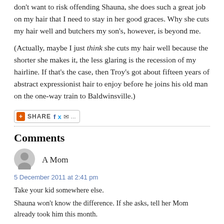don't want to risk offending Shauna, she does such a great job on my hair that I need to stay in her good graces. Why she cuts my hair well and butchers my son's, however, is beyond me.
(Actually, maybe I just think she cuts my hair well because the shorter she makes it, the less glaring is the recession of my hairline. If that's the case, then Troy's got about fifteen years of abstract expressionist hair to enjoy before he joins his old man on the one-way train to Baldwinsville.)
[Figure (other): Share button with social media icons: Facebook, Twitter, email, and more options]
Comments
[Figure (other): User avatar silhouette icon for commenter A Mom]
A Mom
5 December 2011 at 2:41 pm
Take your kid somewhere else.
Shauna won't know the difference. If she asks, tell her Mom already took him this month.